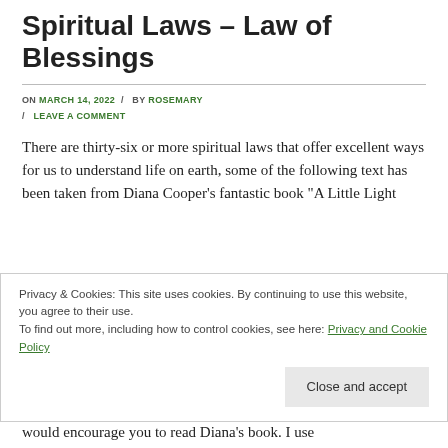Spiritual Laws – Law of Blessings
ON MARCH 14, 2022 / BY ROSEMARY / LEAVE A COMMENT
There are thirty-six or more spiritual laws that offer excellent ways for us to understand life on earth, some of the following text has been taken from Diana Cooper's fantastic book "A Little Light
Privacy & Cookies: This site uses cookies. By continuing to use this website, you agree to their use.
To find out more, including how to control cookies, see here: Privacy and Cookie Policy
would encourage you to read Diana's book. I use